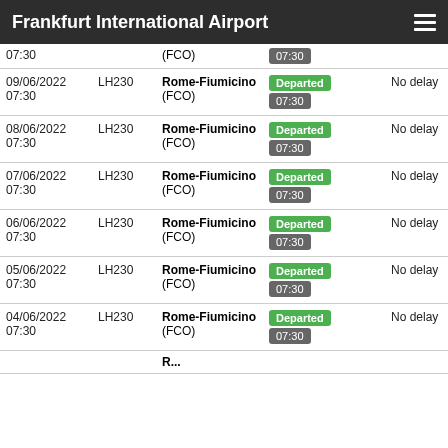Frankfurt International Airport
| Date/Time | Flight | Destination | Status | Delay |
| --- | --- | --- | --- | --- |
| 07:30 |  | (FCO) | 07:30 |  |
| 09/06/2022 07:30 | LH230 | Rome-Fiumicino (FCO) | Departed 07:30 | No delay |
| 08/06/2022 07:30 | LH230 | Rome-Fiumicino (FCO) | Departed 07:30 | No delay |
| 07/06/2022 07:30 | LH230 | Rome-Fiumicino (FCO) | Departed 07:30 | No delay |
| 06/06/2022 07:30 | LH230 | Rome-Fiumicino (FCO) | Departed 07:30 | No delay |
| 05/06/2022 07:30 | LH230 | Rome-Fiumicino (FCO) | Departed 07:30 | No delay |
| 04/06/2022 07:30 | LH230 | Rome-Fiumicino (FCO) | Departed 07:30 | No delay |